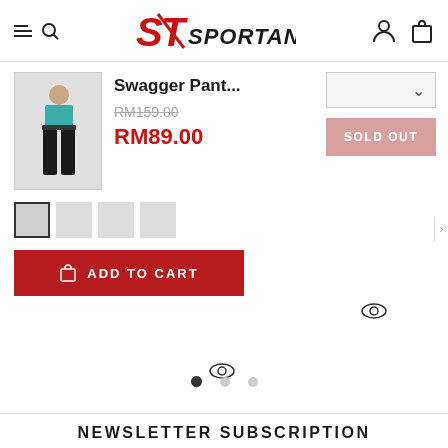Sportantz — website header with logo, search, user and cart icons
[Figure (screenshot): Product image of Swagger Pants (black jogger pants on a model)]
Swagger Pant...
RM159.00
RM89.00
SOLD OUT
ADD TO CART
NEWSLETTER SUBSCRIPTION